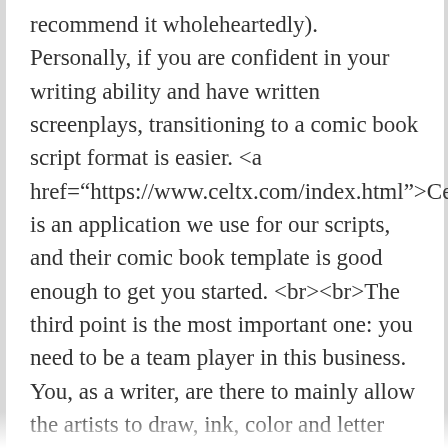recommend it wholeheartedly). Personally, if you are confident in your writing ability and have written screenplays, transitioning to a comic book script format is easier. <a href="https://www.celtx.com/index.html">Celtx</a> is an application we use for our scripts, and their comic book template is good enough to get you started. <br><br>The third point is the most important one: you need to be a team player in this business. You, as a writer, are there to mainly allow the artists to draw, ink, color and letter something interesting that others will see. You need to be open to changes in your script, cause there will ALWAYS be changes in the script. “There’s too many words in the panel!”; “They wouldn’t say that...”; “Just what do you mean by ‘thinking with portals?’” are some of the things you may hear...